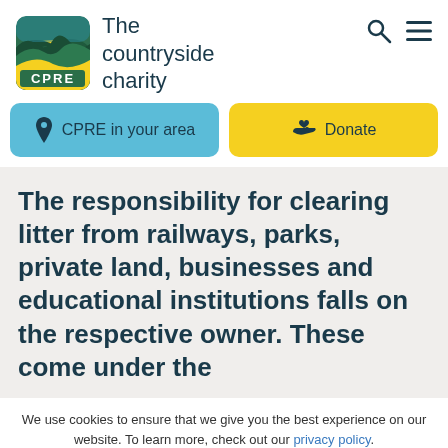[Figure (logo): CPRE logo with green hills and yellow wave, text CPRE in white on green background]
The countryside charity
CPRE in your area
Donate
The responsibility for clearing litter from railways, parks, private land, businesses and educational institutions falls on the respective owner. These come under the
We use cookies to ensure that we give you the best experience on our website. To learn more, check out our privacy policy.
Accept